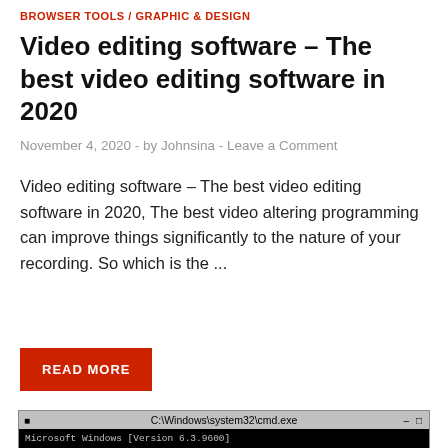BROWSER TOOLS / GRAPHIC & DESIGN
Video editing software – The best video editing software in 2020
November 4, 2020  -  by Johnsina  -  Leave a Comment
Video editing software – The best video editing software in 2020, The best video altering programming can improve things significantly to the nature of your recording. So which is the ...
READ MORE
[Figure (screenshot): Command prompt window showing: Microsoft Windows [Version 6.3.9600], (c) 2013 Microsoft Corporation. All rights reserved. C:\Program Files (x86)\Mininal ADB and Fastboot>adb reboot-bootloader, C:\Program Files (x86)\Mininal ADB and Fastboot>fastboot devices, 073205ab     fastboot, C:\Program Files (x86)\Mininal ADB and Fastboot>]